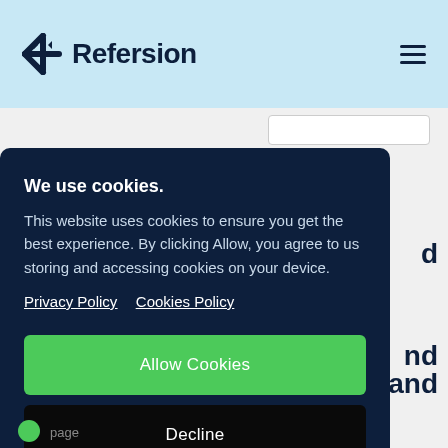[Figure (logo): Refersion logo with snowflake/asterisk icon in dark navy and the text Refersion in bold dark navy]
We use cookies.
This website uses cookies to ensure you get the best experience. By clicking Allow, you agree to us storing and accessing cookies on your device.
Privacy Policy   Cookies Policy
Allow Cookies
Decline